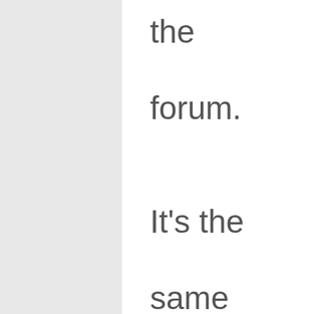the forum. It's the same as the ‘no glasses for 20 minute s for